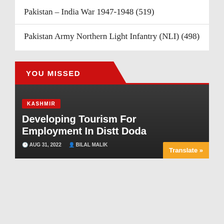Pakistan – India War 1947-1948 (519)
Pakistan Army Northern Light Infantry (NLI) (498)
YOU MISSED
[Figure (photo): Dark image article card background]
KASHMIR
Developing Tourism For Employment In Distt Doda
AUG 31, 2022  BILAL MALIK